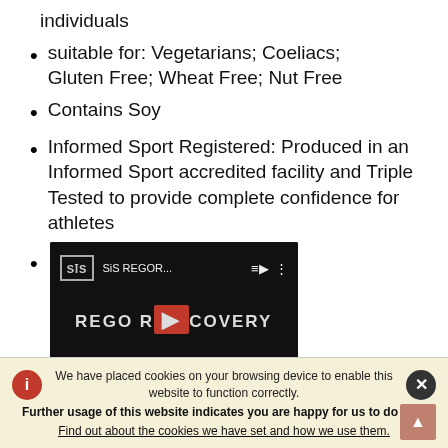individuals
suitable for: Vegetarians; Coeliacs; Gluten Free; Wheat Free; Nut Free
Contains Soy
Informed Sport Registered: Produced in an Informed Sport accredited facility and Triple Tested to provide complete confidence for athletes
[Figure (screenshot): YouTube video thumbnail for SiS REGO Recovery video showing 'REGO RECOVERY' text on dark background with YouTube play button]
We have placed cookies on your browsing device to enable this website to function correctly.
Further usage of this website indicates you are happy for us to do this.
Find out about the cookies we have set and how we use them.